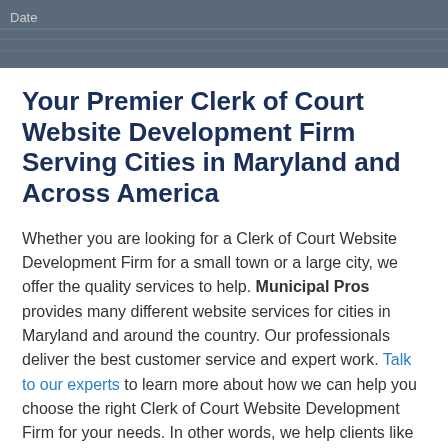Date
Your Premier Clerk of Court Website Development Firm Serving Cities in Maryland and Across America
Whether you are looking for a Clerk of Court Website Development Firm for a small town or a large city, we offer the quality services to help. Municipal Pros provides many different website services for cities in Maryland and around the country. Our professionals deliver the best customer service and expert work. Talk to our experts to learn more about how we can help you choose the right Clerk of Court Website Development Firm for your needs. In other words, we help clients like city governments, city commissions, airports, chambers of commerce, county clerks, law enforcement, clerks of court and more in cities in Maryland